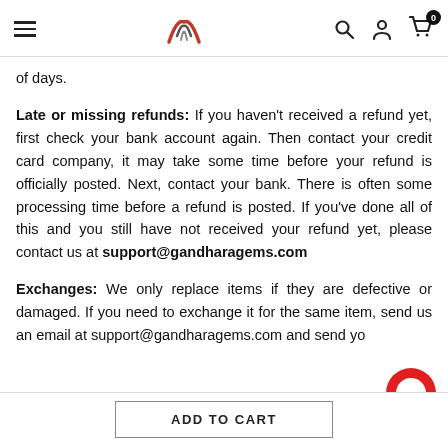Gandhara Gems navigation header with hamburger menu, logo, search, account, and cart icons
of days.
Late or missing refunds: If you haven't received a refund yet, first check your bank account again. Then contact your credit card company, it may take some time before your refund is officially posted. Next, contact your bank. There is often some processing time before a refund is posted. If you've done all of this and you still have not received your refund yet, please contact us at support@gandharagems.com
Exchanges: We only replace items if they are defective or damaged. If you need to exchange it for the same item, send us an email at support@gandharagems.com and send yo